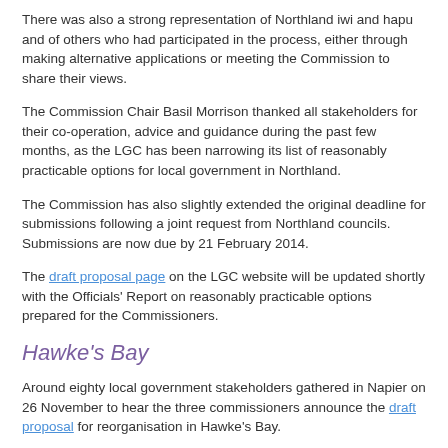There was also a strong representation of Northland iwi and hapu and of others who had participated in the process, either through making alternative applications or meeting the Commission to share their views.
The Commission Chair Basil Morrison thanked all stakeholders for their co-operation, advice and guidance during the past few months, as the LGC has been narrowing its list of reasonably practicable options for local government in Northland.
The Commission has also slightly extended the original deadline for submissions following a joint request from Northland councils. Submissions are now due by 21 February 2014.
The draft proposal page on the LGC website will be updated shortly with the Officials' Report on reasonably practicable options prepared for the Commissioners.
Hawke's Bay
Around eighty local government stakeholders gathered in Napier on 26 November to hear the three commissioners announce the draft proposal for reorganisation in Hawke's Bay.
The original applicant, A Better Hawke's Bay Trust, was represented